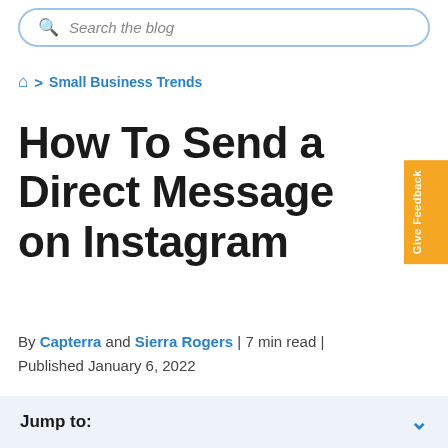Search the blog
🏠 > Small Business Trends
How To Send a Direct Message on Instagram
By Capterra and Sierra Rogers | 7 min read | Published January 6, 2022
Jump to: